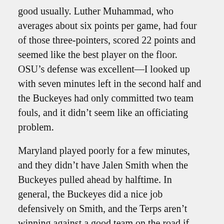good usually. Luther Muhammad, who averages about six points per game, had four of those three-pointers, scored 22 points and seemed like the best player on the floor. OSU's defense was excellent—I looked up with seven minutes left in the second half and the Buckeyes had only committed two team fouls, and it didn't seem like an officiating problem.
Maryland played poorly for a few minutes, and they didn't have Jalen Smith when the Buckeyes pulled ahead by halftime. In general, the Buckeyes did a nice job defensively on Smith, and the Terps aren't winning against a good team on the road if Smith isn't a star that night.
As for the Anthony Cowan situation with four minutes left, that was unfortunate, and it was judged poorly by the officials, but that's not why Maryland lost.
It's easy to say that Sunday's game was more important